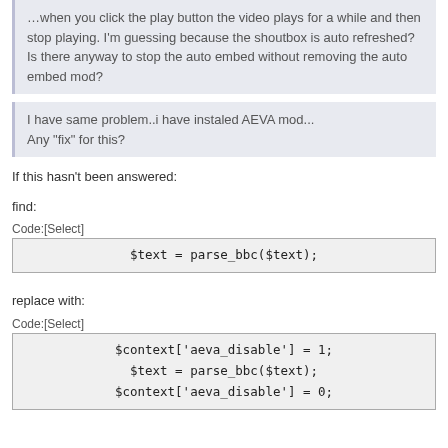...while and then stop playing. I'm guessing because the shoutbox is auto refreshed?
Is there anyway to stop the auto embed without removing the auto embed mod?
I have same problem..i have instaled AEVA mod...
Any "fix" for this?
If this hasn't been answered:
find:
Code:[Select]
replace with:
Code:[Select]